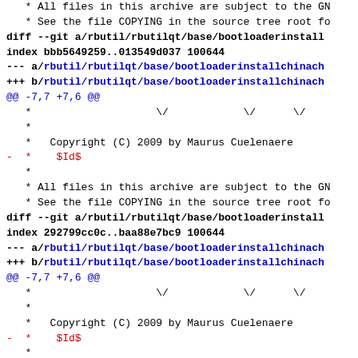* All files in this archive are subject to the GN
 * See the file COPYING in the source tree root fo
diff --git a/rbutil/rbutilqt/base/bootloaderinstall
index bbb5649259..013549d037 100644
--- a/rbutil/rbutilqt/base/bootloaderinstallchinach
+++ b/rbutil/rbutilqt/base/bootloaderinstallchinach
@@ -7,7 +7,6 @@
 *                    \/            \/      \/
 *
 *   Copyright (C) 2009 by Maurus Cuelenaere
 - *    $Id$
 *
 * All files in this archive are subject to the GN
 * See the file COPYING in the source tree root fo
diff --git a/rbutil/rbutilqt/base/bootloaderinstall
index 292799cc0c..baa88e7bc9 100644
--- a/rbutil/rbutilqt/base/bootloaderinstallchinach
+++ b/rbutil/rbutilqt/base/bootloaderinstallchinach
@@ -7,7 +7,6 @@
 *                    \/            \/      \/
 *
 *   Copyright (C) 2009 by Maurus Cuelenaere
 - *    $Id$
 *
 * All files in this archive are subject to the GN
 * See the file COPYING in the source tree root fo
diff --git a/rbutil/rbutilqt/base/bootloaderinstall